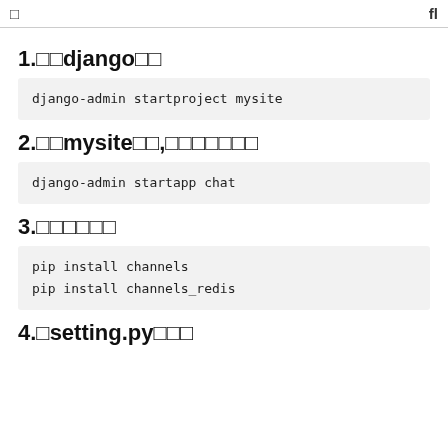□  fl
1.□□django□□
django-admin startproject mysite
2.□□mysite□□,□□□□□□□
django-admin startapp chat
3.□□□□□□
pip install channels
pip install channels_redis
4.□setting.py□□□